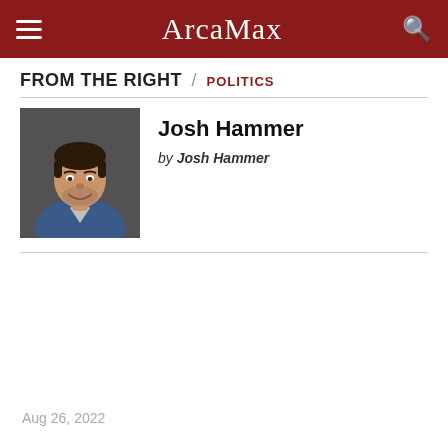ArcaMax
FROM THE RIGHT / POLITICS
Josh Hammer
by Josh Hammer
[Figure (photo): Headshot photo of Josh Hammer, a young man smiling, wearing a blue collared shirt and grey jacket, dark background]
Aug 26, 2022